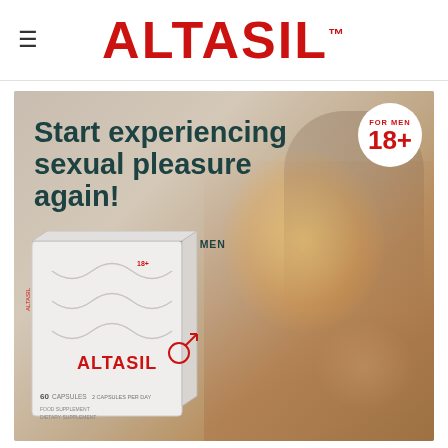≡  ALTASIL™
[Figure (photo): Altasil dietary supplement for men advertisement banner. Shows couple in bed with a warm light background, product box in lower left with text 'ALTASIL 60 capsules, 18+, Dietary supplement for men, 2 capsules per day'. Age badge showing 'FOR MEN 18+' in upper right. Headline reads 'Start experiencing sexual pleasure again! DIETARY SUPPLEMENT FOR MEN']